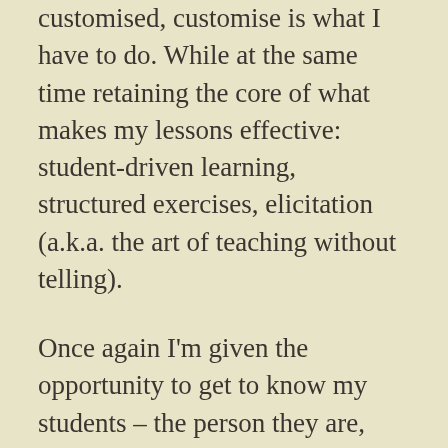customised, customise is what I have to do. While at the same time retaining the core of what makes my lessons effective: student-driven learning, structured exercises, elicitation (a.k.a. the art of teaching without telling).
Once again I'm given the opportunity to get to know my students – the person they are, their preferences, their aversions, their quirks – and build the trust that, once there, will provide the basis for a fruitful collaboration in the journey to self-betterment